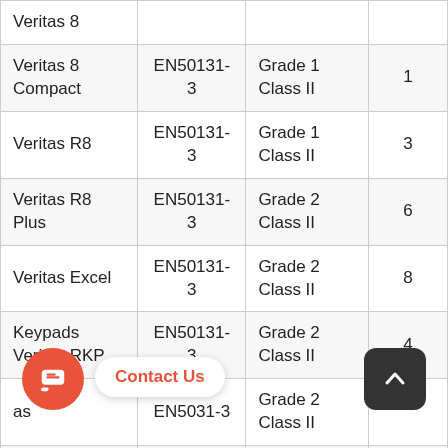| Product | Standard | Grade/Class | Zones |
| --- | --- | --- | --- |
| Veritas 8 |  |  |  |
| Veritas 8 Compact | EN50131-3 | Grade 1 Class II | 1 |
| Veritas R8 | EN50131-3 | Grade 1 Class II | 3 |
| Veritas R8 Plus | EN50131-3 | Grade 2 Class II | 6 |
| Veritas Excel | EN50131-3 | Grade 2 Class II | 8 |
| Keypads Veritas RKP | EN50131-3 | Grade 2 Class II | 4 |
| Veritas [partial] | EN50131-3 | Grade 2 Class II |  |
| Detectors | EN50131-1, | Grade 2 [partial] |  |